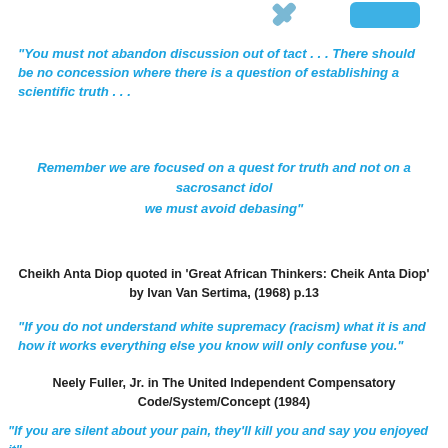[Figure (illustration): Partial decorative icons at top of page (tools/objects, partially cropped)]
“You must not abandon discussion out of tact . . . There should be no concession where there is a question of establishing a scientific truth . . .
Remember we are focused on a quest for truth and not on a sacrosanct idol we must avoid debasing”
Cheikh Anta Diop quoted in ‘Great African Thinkers: Cheik Anta Diop’ by Ivan Van Sertima, (1968) p.13
“If you do not understand white supremacy (racism) what it is and how it works everything else you know will only confuse you.”
Neely Fuller, Jr. in The United Independent Compensatory Code/System/Concept (1984)
“If you are silent about your pain, they’ll kill you and say you enjoyed it”